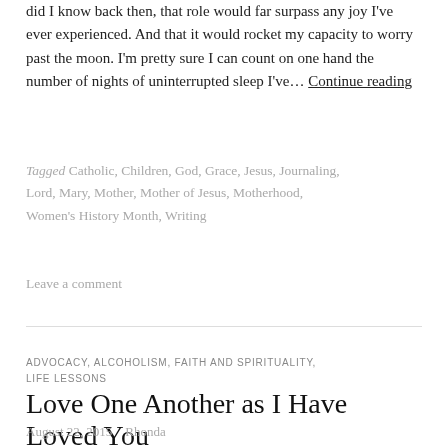did I know back then, that role would far surpass any joy I've ever experienced. And that it would rocket my capacity to worry past the moon. I'm pretty sure I can count on one hand the number of nights of uninterrupted sleep I've… Continue reading
Tagged Catholic, Children, God, Grace, Jesus, Journaling, Lord, Mary, Mother, Mother of Jesus, Motherhood, Women's History Month, Writing
Leave a comment
ADVOCACY, ALCOHOLISM, FAITH AND SPIRITUALITY, LIFE LESSONS
Love One Another as I Have Loved You
August 22, 2015   Rhonda